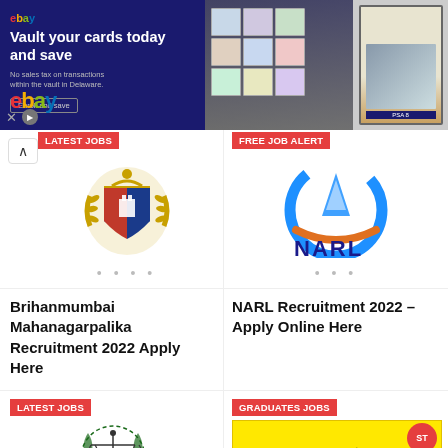[Figure (infographic): eBay advertisement banner with logo, 'Vault your cards today and save' headline, trading card images and baseball card]
[Figure (logo): Brihanmumbai Mahanagarpalika crest/coat of arms with red and blue shield, gold wreath]
LATEST JOBS
Brihanmumbai Mahanagarpalika Recruitment 2022 Apply Here
[Figure (logo): NARL logo - blue circle with orange arc and blue triangle/arrow, partial text NARL visible]
FREE JOB ALERT
NARL Recruitment 2022 – Apply Online Here
[Figure (logo): National Green Tribunal logo - circular emblem with scales of justice, green wreath]
LATEST JOBS
GRADUATES JOBS
[Figure (infographic): ST Mahamandal Bharti yellow banner with Marathi text and bus image]